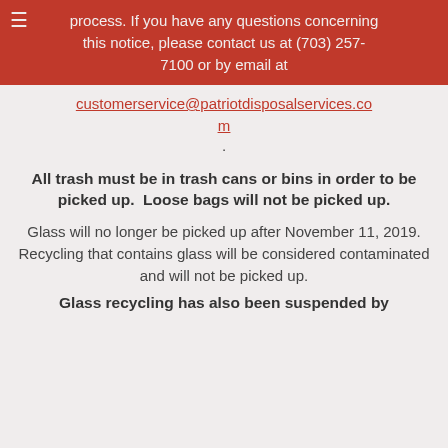process. If you have any questions concerning this notice, please contact us at (703) 257-7100 or by email at
customerservice@patriotdisposalservices.com.
All trash must be in trash cans or bins in order to be picked up.  Loose bags will not be picked up.
Glass will no longer be picked up after November 11, 2019. Recycling that contains glass will be considered contaminated and will not be picked up.
Glass recycling has also been suspended by